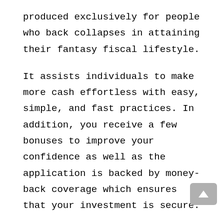produced exclusively for people who back collapses in attaining their fantasy fiscal lifestyle.
It assists individuals to make more cash effortless with easy, simple, and fast practices. In addition, you receive a few bonuses to improve your confidence as well as the application is backed by money-back coverage which ensures that your investment is secure.
So, what for you're waiting? Just click on the buy button and revel in your fantasy and worry-free life.